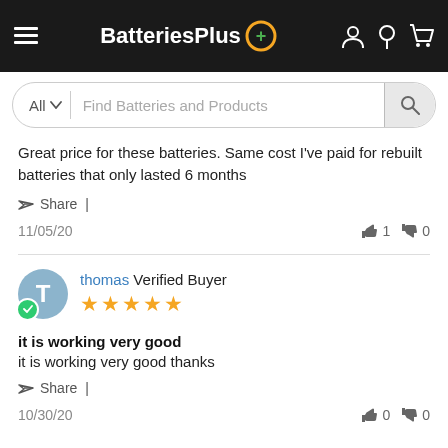BatteriesPlus
Find Batteries and Products
Great price for these batteries. Same cost I've paid for rebuilt batteries that only lasted 6 months
Share |
11/05/20   👍 1   👎 0
thomas Verified Buyer ★★★★★
it is working very good
it is working very good thanks
Share |
10/30/20   👍 0   👎 0